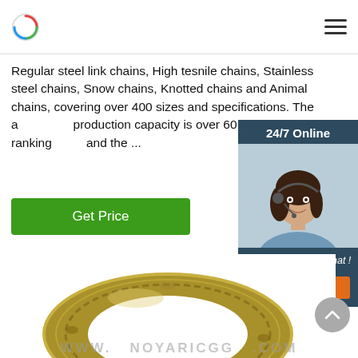Logo and navigation header
Regular steel link chains, High tesnile chains, Stainless steel chains, Snow chains, Knotted chains and Animal chains, covering over 400 sizes and specifications. The a production capacity is over 60,000 tons, ranking and the ...
Get Price
[Figure (photo): 24/7 Online chat widget with female agent wearing headset and blue shirt, with 'Click here for free chat!' text and orange QUOTATION button]
[Figure (photo): Close-up photograph of a gold/yellow zinc-plated steel chain ring link, showing the circular ring shape with metallic texture, with partial watermark text at bottom]
WWW. NOYARICGG .COM